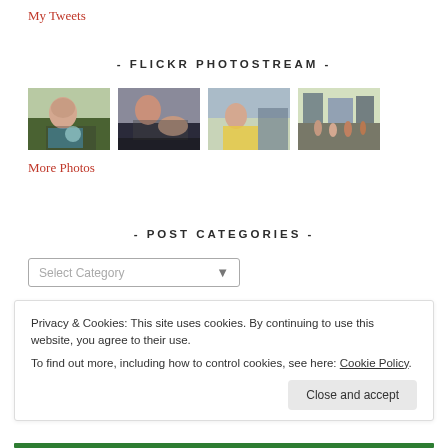My Tweets
- FLICKR PHOTOSTREAM -
[Figure (photo): Four thumbnail photos from a Flickr photostream showing students and classroom scenes]
More Photos
- POST CATEGORIES -
Select Category
Privacy & Cookies: This site uses cookies. By continuing to use this website, you agree to their use.
To find out more, including how to control cookies, see here: Cookie Policy